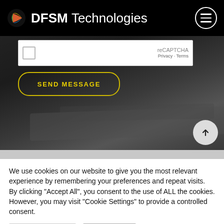DFSM Technologies
[Figure (screenshot): reCAPTCHA widget with checkbox, Privacy and Terms links on a white background, overlaid on a dark background photo of a person lying on a table/bed]
reCAPTCHA
Privacy · Terms
SEND MESSAGE
We use cookies on our website to give you the most relevant experience by remembering your preferences and repeat visits. By clicking "Accept All", you consent to the use of ALL the cookies. However, you may visit "Cookie Settings" to provide a controlled consent.
Cookie Settings
Accept All